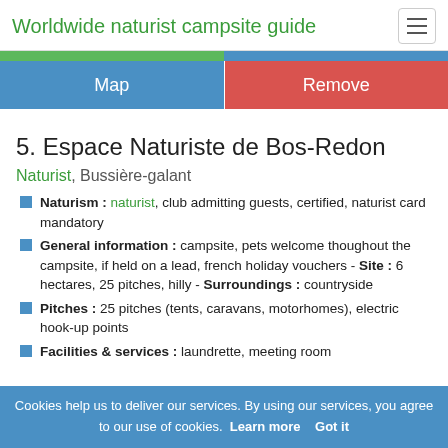Worldwide naturist campsite guide
5. Espace Naturiste de Bos-Redon
Naturist, Bussière-galant
Naturism : naturist, club admitting guests, certified, naturist card mandatory
General information : campsite, pets welcome thoughout the campsite, if held on a lead, french holiday vouchers - Site : 6 hectares, 25 pitches, hilly - Surroundings : countryside
Pitches : 25 pitches (tents, caravans, motorhomes), electric hook-up points
Facilities & services : laundrette, meeting room
Cookies help us to deliver our services. By using our services, you agree to our use of cookies. Learn more Got it